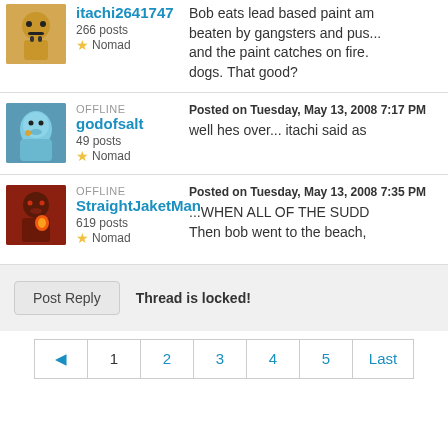itachi2641747 — 266 posts, Nomad — Bob eats lead based paint am... beaten by gangsters and pus... and the paint catches on fire. dogs. That good?
OFFLINE — godofsalt — 49 posts, Nomad — Posted on Tuesday, May 13, 2008 7:17 PM — well hes over... itachi said as
OFFLINE — StraightJaketMan — 619 posts, Nomad — Posted on Tuesday, May 13, 2008 7:35 PM — ...WHEN ALL OF THE SUDD Then bob went to the beach,
Thread is locked!
◀  1  2  3  4  5  Last